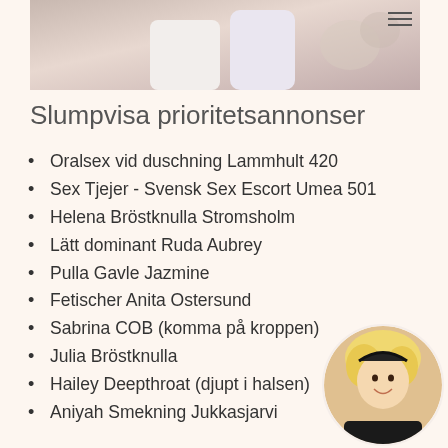[Figure (photo): Top portion of a person's legs/body, partially cropped, with white stockings/socks visible against a light floral background]
Slumpvisa prioritetsannonser
Oralsex vid duschning Lammhult 420
Sex Tjejer - Svensk Sex Escort Umea 501
Helena Bröstknulla Stromsholm
Lätt dominant Ruda Aubrey
Pulla Gavle Jazmine
Fetischer Anita Ostersund
Sabrina COB (komma på kroppen)
Julia Bröstknulla
Hailey Deepthroat (djupt i halsen)
Aniyah Smekning Jukkasjarvi
[Figure (photo): Circular avatar/thumbnail photo of a blonde woman smiling, wearing dark clothing]